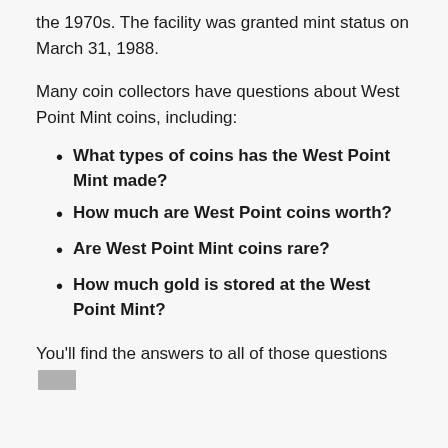the 1970s. The facility was granted mint status on March 31, 1988.
Many coin collectors have questions about West Point Mint coins, including:
What types of coins has the West Point Mint made?
How much are West Point coins worth?
Are West Point Mint coins rare?
How much gold is stored at the West Point Mint?
You'll find the answers to all of those questions [redacted]